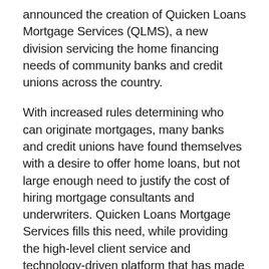announced the creation of Quicken Loans Mortgage Services (QLMS), a new division servicing the home financing needs of community banks and credit unions across the country.
With increased rules determining who can originate mortgages, many banks and credit unions have found themselves with a desire to offer home loans, but not large enough need to justify the cost of hiring mortgage consultants and underwriters. Quicken Loans Mortgage Services fills this need, while providing the high-level client service and technology-driven platform that has made Quicken Loans the nation's largest online lender.
“Quicken Loans Mortgage Services provides a very exciting opportunity for Quicken Loans, as